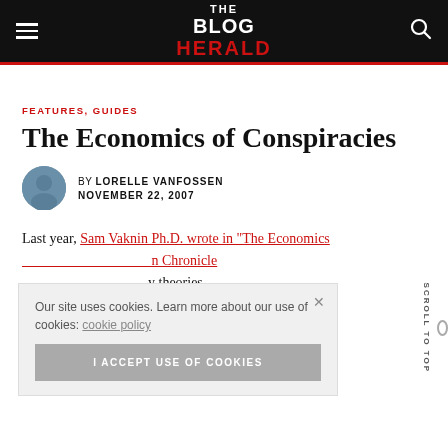THE BLOG HERALD
FEATURES, GUIDES
The Economics of Conspiracies
BY LORELLE VANFOSSEN
NOVEMBER 22, 2007
Last year, Sam Vaknin Ph.D. wrote in “The Economics ... n Chronicle ... y theories, ... evision ... ty for their ... ipant. In and
Our site uses cookies. Learn more about our use of cookies: cookie policy
I ACCEPT USE OF COOKIES